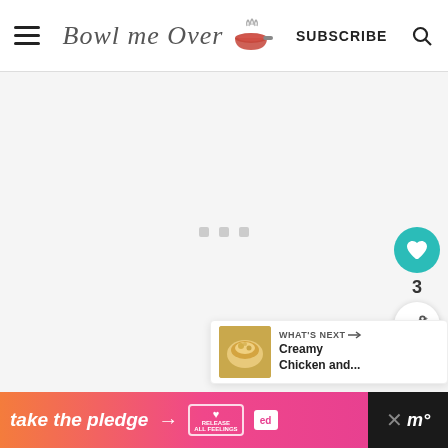Bowl me Over — SUBSCRIBE
[Figure (screenshot): Loading content area with three gray squares indicating loading state]
[Figure (infographic): Floating action buttons: teal heart/like button, count of 3, and white share button]
3
WHAT'S NEXT → Creamy Chicken and...
[Figure (infographic): Bottom advertisement banner: 'take the pledge →' with RELEASE heart badge and ed badge on gradient orange-pink background, with dark right section showing X close and M logo]